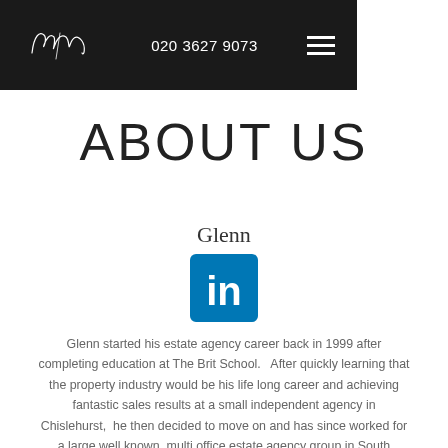020 3627 9073
ABOUT US
Glenn
[Figure (logo): LinkedIn icon — blue rounded square with white 'in' text]
Glenn started his estate agency career back in 1999 after completing education at The Brit School.   After quickly learning that the property industry would be his life long career and achieving fantastic sales results at a small independent agency in Chislehurst,  he then decided to move on and has since worked for a large well known, multi office estate agency group in South London.
Performing at a high level and managing various branches over an 18 year span Glenn has gained